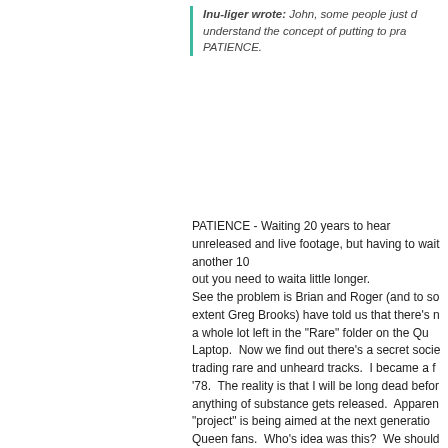Inu-liger wrote: John, some people just don't understand the concept of putting to practice PATIENCE.
PATIENCE - Waiting 20 years to hear unreleased and live footage, but having to wait another 10... out you need to waita little longer. See the problem is Brian and Roger (and to some extent Greg Brooks) have told us that there's not a whole lot left in the "Rare" folder on the Queen Laptop. Now we find out there's a secret society trading rare and unheard tracks. I became a fan in '78. The reality is that I will be long dead before anything of substance gets released. Apparently the "project" is being aimed at the next generation of Queen fans. Who's idea was this? We should be disappointed the Queen + Adam Lambert thing didn't work out.... because when these tracks finally get released, the 50 year old Adam Lambert fans won't even remember who Queen is, let alone Hangman Acetate.
Micrówave
04.04.2012 15:39